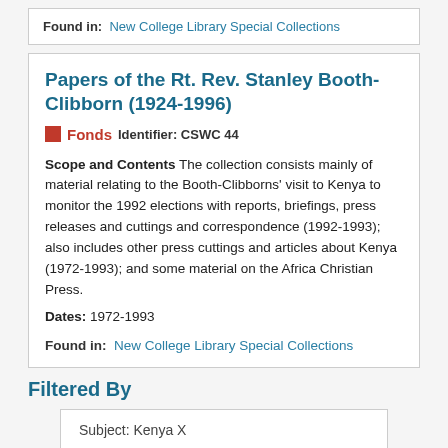Found in:  New College Library Special Collections
Papers of the Rt. Rev. Stanley Booth-Clibborn (1924-1996)
Fonds   Identifier: CSWC 44
Scope and Contents The collection consists mainly of material relating to the Booth-Clibborns' visit to Kenya to monitor the 1992 elections with reports, briefings, press releases and cuttings and correspondence (1992-1993); also includes other press cuttings and articles about Kenya (1972-1993); and some material on the Africa Christian Press.
Dates: 1972-1993
Found in:  New College Library Special Collections
Filtered By
Subject: Kenya X